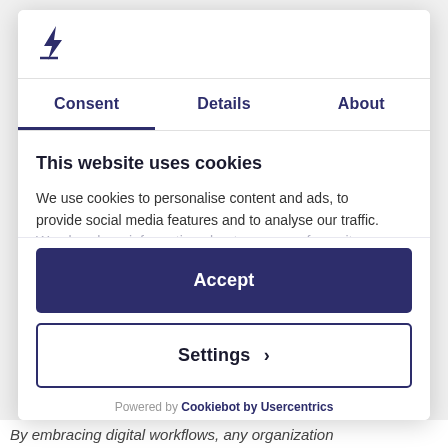[Figure (logo): Stylized letter L logo in dark navy/indigo color]
Consent | Details | About
This website uses cookies
We use cookies to personalise content and ads, to provide social media features and to analyse our traffic. We also share information about your use of our site...
Accept
Settings ›
Powered by Cookiebot by Usercentrics
By embracing digital workflows, any organization